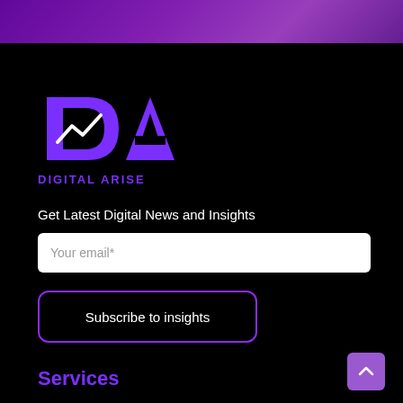[Figure (photo): Purple/violet gradient banner image at the top of the page, partial view of a background image]
[Figure (logo): Digital Arise logo — stylized purple 'DA' letters with an upward arrow/chart symbol integrated, with 'DIGITAL ARISE' text below in purple bold letters]
Get Latest Digital News and Insights
Your email*
Subscribe to insights
Services
[Figure (other): Purple square back-to-top button with upward chevron arrow in bottom right corner]